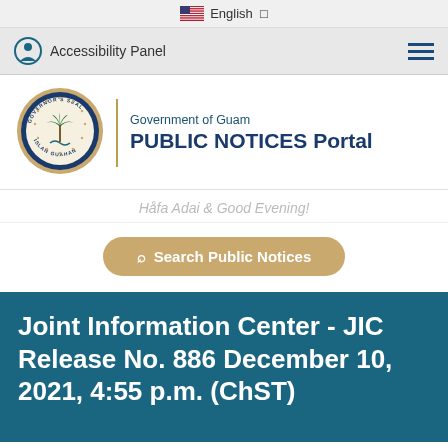English
Accessibility Panel
[Figure (logo): Government of Guam Governor's Seal - circular seal with palm tree]
Government of Guam PUBLIC NOTICES Portal
Håfa Adai & Good Evening!
Search Public Notices
Joint Information Center - JIC Release No. 886 December 10, 2021, 4:55 p.m. (ChST)